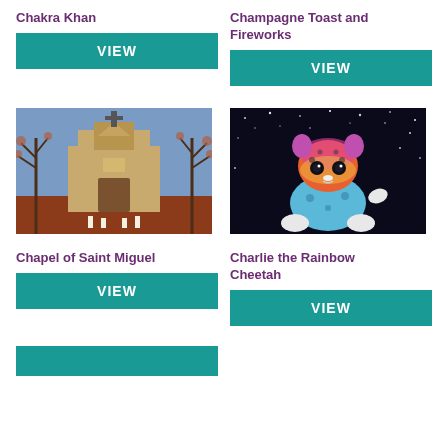Chakra Khan
VIEW
Champagne Toast and Fireworks
VIEW
[Figure (illustration): Painting of a southwestern adobe church (Chapel of Saint Miguel) with bare trees, cross on top, and candles at the base]
[Figure (illustration): Painting of a colorful rainbow cheetah cub sitting in a starry night background]
Chapel of Saint Miguel
VIEW
Charlie the Rainbow Cheetah
VIEW